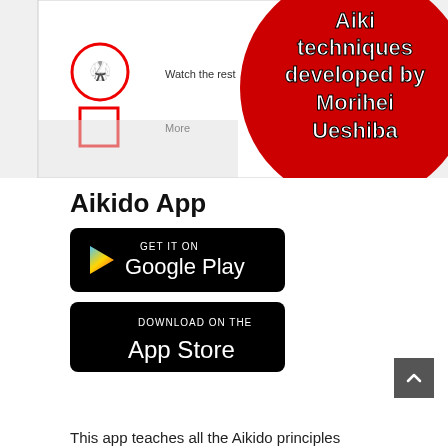[Figure (screenshot): Screenshot of an Aikido app interface showing 'Watch the rest' and 'More' links, alongside a red circular badge with white text reading 'Aikido techniques developed by Morihei Ueshiba']
Aikido App
[Figure (other): Google Play store badge: GET IT ON Google Play]
[Figure (other): Apple App Store badge: DOWNLOAD ON THE App Store]
This app teaches all the Aikido principles